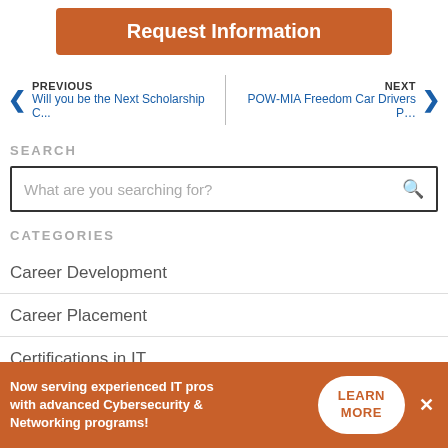Request Information
PREVIOUS — Will you be the Next Scholarship C...  |  NEXT — POW-MIA Freedom Car Drivers P…
SEARCH
What are you searching for?
CATEGORIES
Career Development
Career Placement
Certifications in IT
Now serving experienced IT pros with advanced Cybersecurity & Networking programs!  LEARN MORE  ×